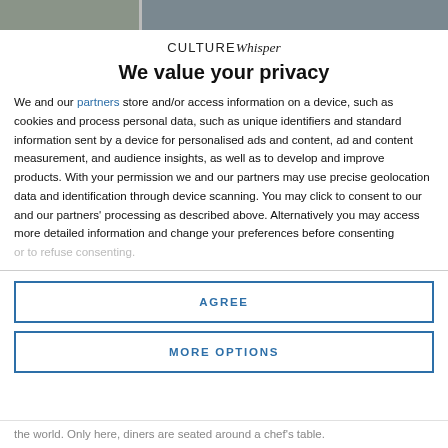[Figure (photo): Top banner image of a restaurant/dining scene, cropped at top of page]
CULTUREWhisper
We value your privacy
We and our partners store and/or access information on a device, such as cookies and process personal data, such as unique identifiers and standard information sent by a device for personalised ads and content, ad and content measurement, and audience insights, as well as to develop and improve products. With your permission we and our partners may use precise geolocation data and identification through device scanning. You may click to consent to our and our partners' processing as described above. Alternatively you may access more detailed information and change your preferences before consenting or to refuse consenting.
AGREE
MORE OPTIONS
the world. Only here, diners are seated around a chef's table.